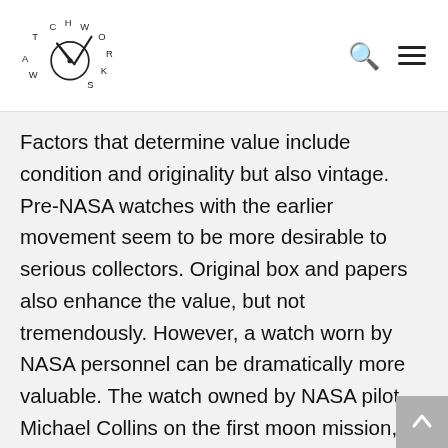WATCHWORKS
Factors that determine value include condition and originality but also vintage. Pre-NASA watches with the earlier movement seem to be more desirable to serious collectors. Original box and papers also enhance the value, but not tremendously. However, a watch worn by NASA personnel can be dramatically more valuable. The watch owned by NASA pilot Michael Collins on the first moon mission, Apollo XI, brought more than $25,000 at an Omega theme auction held by Antiquorum in 2007.
The beauty of the Speedmaster, aside from its aesthetics, is its terrific value. While a comparable Rolex chronograph from the same period trades for a minimum of $12,000, a nice example of a Moon watch can be bought for under $3,000. Perfect, rare, or historic